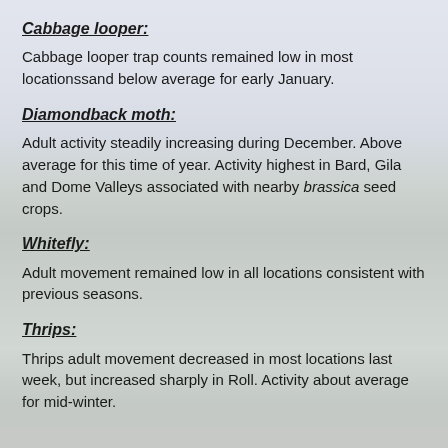Cabbage looper:
Cabbage looper trap counts remained low in most locationssand below average for early January.
Diamondback moth:
Adult activity steadily increasing during December. Above average for this time of year. Activity highest in Bard, Gila and Dome Valleys associated with nearby brassica seed crops.
Whitefly:
Adult movement remained low in all locations consistent with previous seasons.
Thrips:
Thrips adult movement decreased in most locations last week, but increased sharply in Roll. Activity about average for mid-winter.